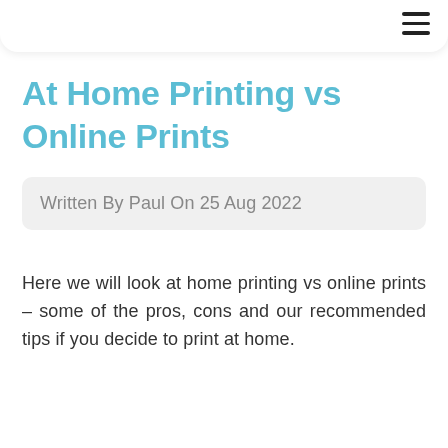At Home Printing vs Online Prints
Written By Paul On 25 Aug 2022
Here we will look at home printing vs online prints – some of the pros, cons and our recommended tips if you decide to print at home.